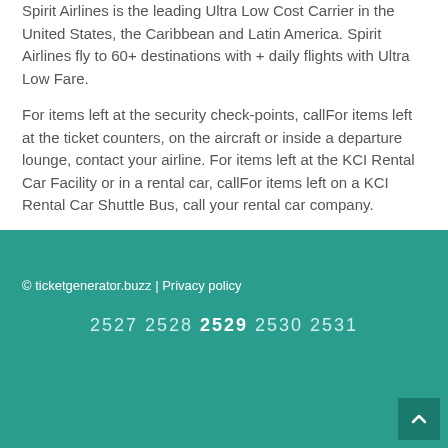Spirit Airlines is the leading Ultra Low Cost Carrier in the United States, the Caribbean and Latin America. Spirit Airlines fly to 60+ destinations with + daily flights with Ultra Low Fare.
For items left at the security check-points, callFor items left at the ticket counters, on the aircraft or inside a departure lounge, contact your airline. For items left at the KCI Rental Car Facility or in a rental car, callFor items left on a KCI Rental Car Shuttle Bus, call your rental car company.
© ticketgenerator.buzz | Privacy policy
2527 2528 2529 2530 2531